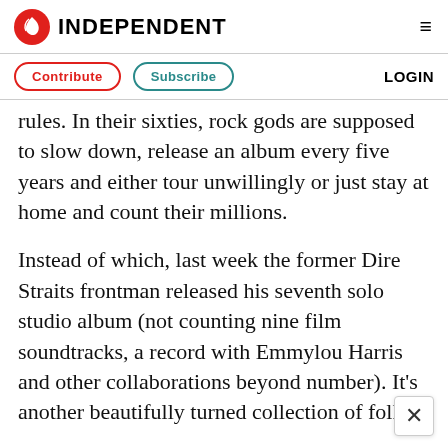INDEPENDENT
Contribute   Subscribe   LOGIN
rules. In their sixties, rock gods are supposed to slow down, release an album every five years and either tour unwillingly or just stay at home and count their millions.
Instead of which, last week the former Dire Straits frontman released his seventh solo studio album (not counting nine film soundtracks, a record with Emmylou Harris and other collaborations beyond number). It's another beautifully turned collection of folk,